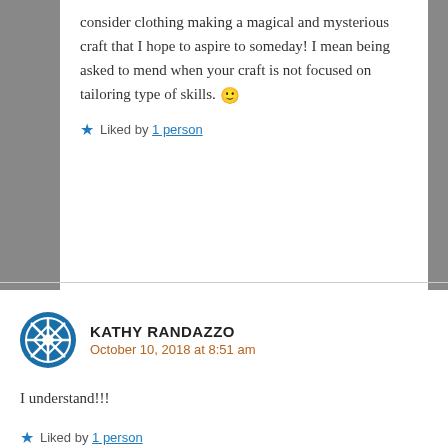consider clothing making a magical and mysterious craft that I hope to aspire to someday! I mean being asked to mend when your craft is not focused on tailoring type of skills. 🙂
★ Liked by 1 person
KATHY RANDAZZO
October 10, 2018 at 8:51 am
I understand!!!
★ Liked by 1 person